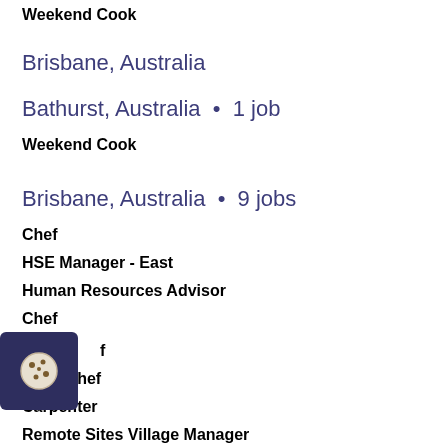Weekend Cook
Bathurst, Australia • 1 job
Weekend Cook
Brisbane, Australia • 9 jobs
Chef
HSE Manager - East
Human Resources Advisor
Chef
Chef
Head Chef
Carpenter
Remote Sites Village Manager